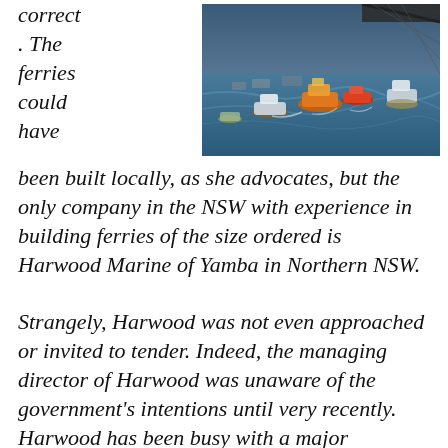correct. The ferries could have
[Figure (photo): Aerial or elevated view of multiple ferries and boats on a harbour, with a bridge structure visible at the top right. Several yellow and orange vessels are prominent among the fleet.]
been built locally, as she advocates, but the only company in the NSW with experience in building ferries of the size ordered is Harwood Marine of Yamba in Northern NSW.

Strangely, Harwood was not even approached or invited to tender. Indeed, the managing director of Harwood was unaware of the government's intentions until very recently. Harwood has been busy with a major expansion of its company's facilities including, ironically, a 60 metre shed in